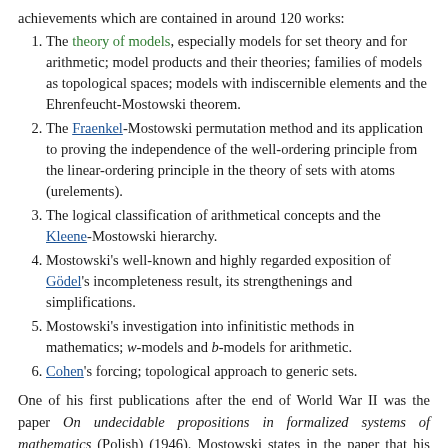achievements which are contained in around 120 works:
The theory of models, especially models for set theory and for arithmetic; model products and their theories; families of models as topological spaces; models with indiscernible elements and the Ehrenfeucht-Mostowski theorem.
The Fraenkel-Mostowski permutation method and its application to proving the independence of the well-ordering principle from the linear-ordering principle in the theory of sets with atoms (urelements).
The logical classification of arithmetical concepts and the Kleene-Mostowski hierarchy.
Mostowski's well-known and highly regarded exposition of Gödel's incompleteness result, its strengthenings and simplifications.
Mostowski's investigation into infinitistic methods in mathematics; w-models and b-models for arithmetic.
Cohen's forcing; topological approach to generic sets.
One of his first publications after the end of World War II was the paper On undecidable propositions in formalized systems of mathematics (Polish) (1946). Mostowski states in the paper that his aims are to give:-
... a popular, and at the same time completely rigorous, presentation of Gödel's ideas; his theory reaching the